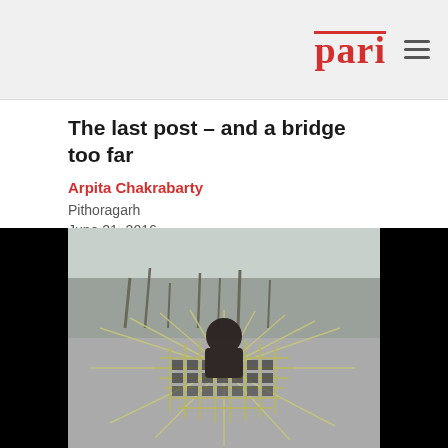pari
The last post – and a bridge too far
Arpita Chakrabarty
Pithoragarh
June 21, 2016
7 Languages
[Figure (photo): A person weaving or working with wicker/straw material, crouching behind an intricate woven structure of grass or reeds. Bare trees and a hazy background visible. The photo has black bars on left and right edges.]